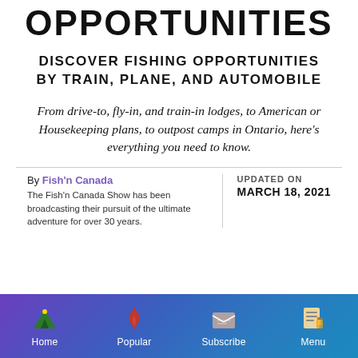OPPORTUNITIES
DISCOVER FISHING OPPORTUNITIES BY TRAIN, PLANE, AND AUTOMOBILE
From drive-to, fly-in, and train-in lodges, to American or Housekeeping plans, to outpost camps in Ontario, here's everything you need to know.
By Fish'n Canada
The Fish'n Canada Show has been broadcasting their pursuit of the ultimate adventure for over 30 years.
UPDATED ON
MARCH 18, 2021
Home | Popular | Subscribe | Menu